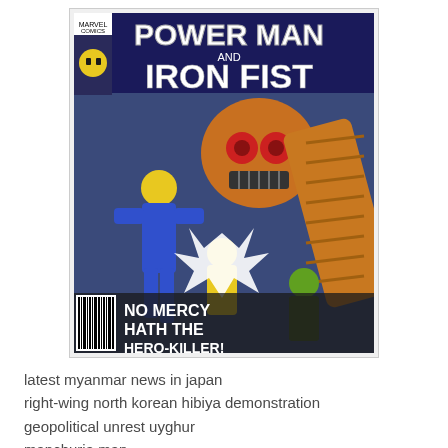[Figure (illustration): Comic book cover of 'Power Man and Iron Fist' showing action scene with characters fighting a large robot/villain. Text on cover reads 'NO MERCY HATH THE HERO-KILLER!']
latest myanmar news in japan
right-wing north korean hibiya demonstration
geopolitical unrest uyghur
manchuria map
shan flag
map of russo-japanese war